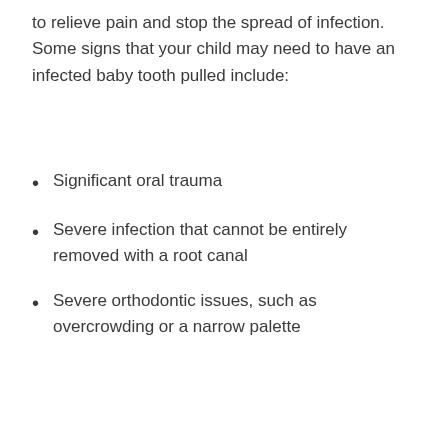to relieve pain and stop the spread of infection. Some signs that your child may need to have an infected baby tooth pulled include:
Significant oral trauma
Severe infection that cannot be entirely removed with a root canal
Severe orthodontic issues, such as overcrowding or a narrow palette